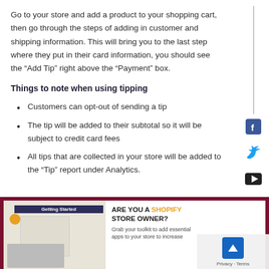Go to your store and add a product to your shopping cart, then go through the steps of adding in customer and shipping information. This will bring you to the last step where they put in their card information, you should see the “Add Tip” right above the “Payment” box.
Things to note when using tipping
Customers can opt-out of sending a tip
The tip will be added to their subtotal so it will be subject to credit card fees
All tips that are collected in your store will be added to the “Tip” report under Analytics.
[Figure (infographic): Promotional banner with dark red border. Left side shows a 'Getting Started' booklet/tablet image. Right side has bold text: 'ARE YOU A SHOPIFY STORE OWNER? Grab your toolkit to add essential apps to your store to increase...']